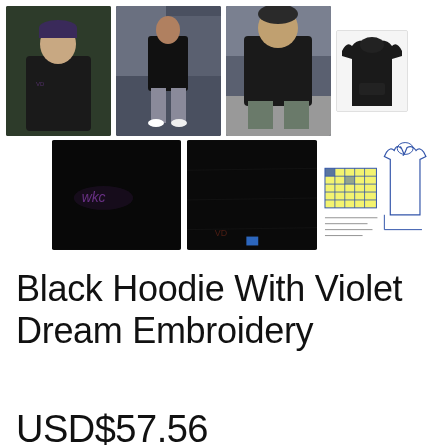[Figure (photo): Product gallery showing 7 thumbnails: three outdoor lifestyle photos of a person wearing a black hoodie, one small flat-lay product shot of the hoodie, two close-up dark photos of hoodie embroidery, and one line-drawing sizing/diagram image.]
Black Hoodie With Violet Dream Embroidery
USD$57.56